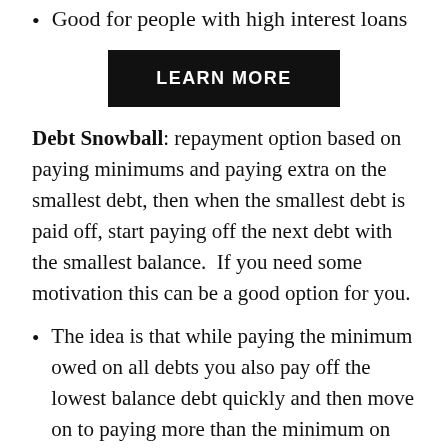Good for people with high interest loans
[Figure (other): Black button with white bold uppercase text reading LEARN MORE]
Debt Snowball: repayment option based on paying minimums and paying extra on the smallest debt, then when the smallest debt is paid off, start paying off the next debt with the smallest balance.  If you need some motivation this can be a good option for you.
The idea is that while paying the minimum owed on all debts you also pay off the lowest balance debt quickly and then move on to paying more than the minimum on the  next smallest debt and so on.